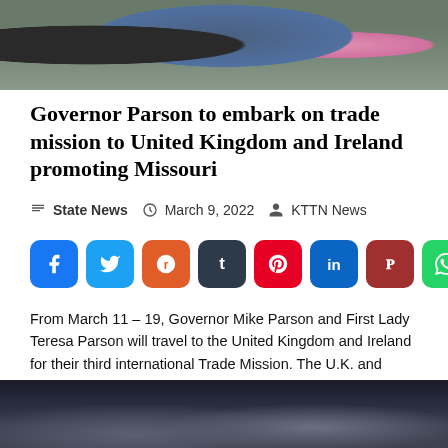[Figure (photo): Top portion of a photo showing people in formal attire, likely Governor Parson and others, against a green outdoor background with flowers]
Governor Parson to embark on trade mission to United Kingdom and Ireland promoting Missouri
State News  March 9, 2022  KTTN News
[Figure (infographic): Row of social media share buttons: Facebook (blue), Twitter (light blue), Reddit (orange), Tumblr (dark navy), Pinterest (red), LinkedIn (blue), Parler (dark red), WhatsApp (green)]
From March 11 – 19, Governor Mike Parson and First Lady Teresa Parson will travel to the United Kingdom and Ireland for their third international Trade Mission. The U.K. and Ireland are key trade partners for Missouri, with nearly $354 million and more than $130 million in exports in 2021, respectively. Consistent with Governor Parson's […]
[Figure (photo): Bottom portion of a photo showing people in formal attire against a dark background]